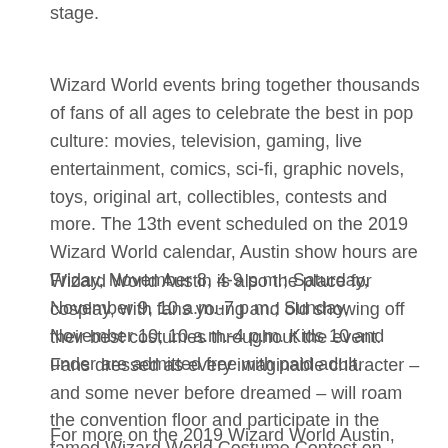stage.
Wizard World events bring together thousands of fans of all ages to celebrate the best in pop culture: movies, television, gaming, live entertainment, comics, sci-fi, graphic novels, toys, original art, collectibles, contests and more. The 13th event scheduled on the 2019 Wizard World calendar, Austin show hours are Friday, November 8, 4-9 p.m.; Saturday, November 9, 10 a.m.-7 p.m.; Sunday, November 10, 10 a.m.-4 p.m. Kids 10 and under are admitted free with paid adult.
Wizard World Austin is also the place for cosplay, with fans young and old showing off their best costumes throughout the event. Fans dressed as every imaginable character – and some never before dreamed – will roam the convention floor and participate in the famed Wizard World Costume Contest on Saturday evening.
For more on the 2019 Wizard World Austin, visit